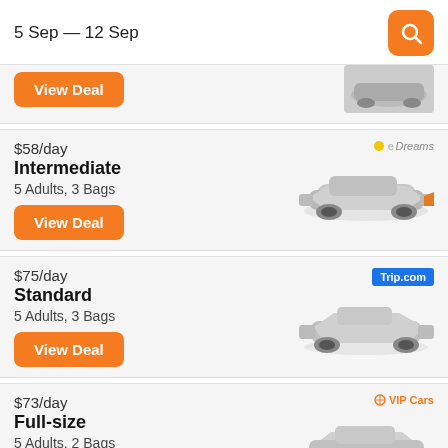5 Sep — 12 Sep
$58/day
Intermediate
5 Adults, 3 Bags
$75/day
Standard
5 Adults, 3 Bags
$73/day
Full-size
5 Adults, 2 Bags